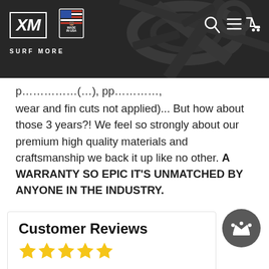XM SURF MORE — Made in USA
wear and fin cuts not applied)... But how about those 3 years?! We feel so strongly about our premium high quality materials and craftsmanship we back it up like no other. A WARRANTY SO EPIC IT'S UNMATCHED BY ANYONE IN THE INDUSTRY.
Customer Reviews
[Figure (other): Five gold star rating icons]